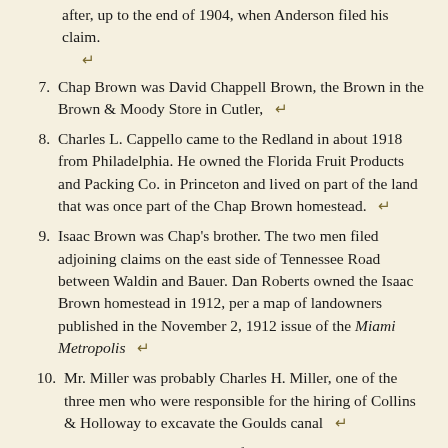after, up to the end of 1904, when Anderson filed his claim. ↵
7. Chap Brown was David Chappell Brown, the Brown in the Brown & Moody Store in Cutler, ↵
8. Charles L. Cappello came to the Redland in about 1918 from Philadelphia. He owned the Florida Fruit Products and Packing Co. in Princeton and lived on part of the land that was once part of the Chap Brown homestead. ↵
9. Isaac Brown was Chap's brother. The two men filed adjoining claims on the east side of Tennessee Road between Waldin and Bauer. Dan Roberts owned the Isaac Brown homestead in 1912, per a map of landowners published in the November 2, 1912 issue of the Miami Metropolis ↵
10. Mr. Miller was probably Charles H. Miller, one of the three men who were responsible for the hiring of Collins & Holloway to excavate the Goulds canal ↵
11. Frank was another brother of Chap and Isaac. ↵
12. Henry was a brother of Charles and his homestead was